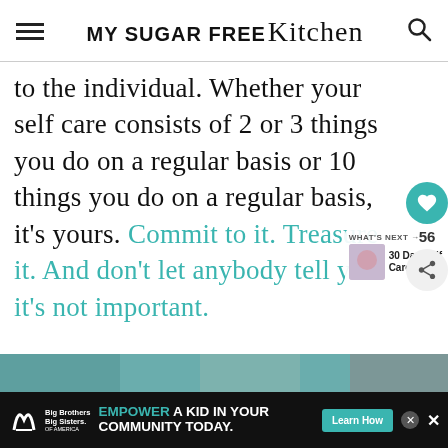MY SUGAR FREE Kitchen
to the individual.  Whether your self care consists of 2 or 3 things you do on a regular basis or 10  things you do on a regular basis, it's yours.  Commit to it.  Treasure it.  And don't let anybody tell you it's not important.
[Figure (screenshot): Heart/like button showing 56 likes, and a share button]
[Figure (screenshot): What's Next panel: 30 Day Self Care...]
[Figure (photo): Partial image strip at bottom of article]
[Figure (screenshot): Advertisement banner: Big Brothers Big Sisters - EMPOWER A KID IN YOUR COMMUNITY TODAY. Learn How button]